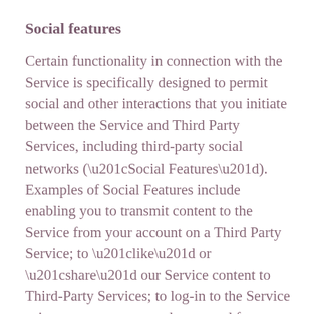Social features
Certain functionality in connection with the Service is specifically designed to permit social and other interactions that you initiate between the Service and Third Party Services, including third-party social networks (“Social Features”). Examples of Social Features include enabling you to transmit content to the Service from your account on a Third Party Service; to “like” or “share” our Service content to Third-Party Services; to log-in to the Service using your username and password for a Third Party Service; and to otherwise connect our Service to a Third Party Service.